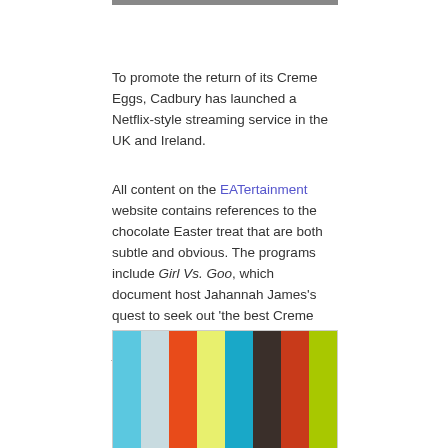To promote the return of its Creme Eggs, Cadbury has launched a Netflix-style streaming service in the UK and Ireland.
All content on the EATertainment website contains references to the chocolate Easter treat that are both subtle and obvious. The programs include Girl Vs. Goo, which document host Jahannah James's quest to seek out 'the best Creme Egg dishes in the country', Armeggeddon, a mini film following three friends hiding away in an underground bunker and The Gooru, a series of Creme Egg-inspired yoga classes.
[Figure (other): A horizontal bar chart with colored vertical bars in colors: sky blue, light blue/gray, orange-red, yellow-green, teal/cyan, dark brown/charcoal, orange-red, and lime green.]